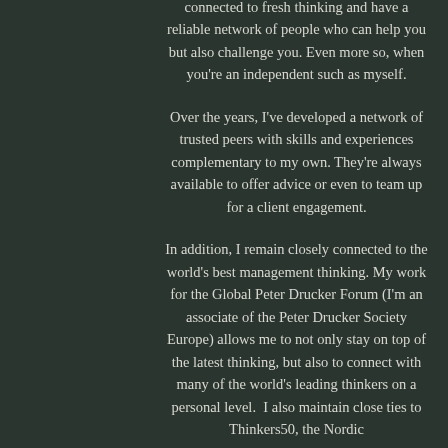connected to fresh thinking and have a reliable network of people who can help you but also challenge you. Even more so, when you're an independent such as myself.
Over the years, I've developed a network of trusted peers with skills and experiences complementary to my own. They're always available to offer advice or even to team up for a client engagement.
In addition, I remain closely connected to the world's best management thinking. My work for the Global Peter Drucker Forum (I'm an associate of the Peter Drucker Society Europe) allows me to not only stay on top of the latest thinking, but also to connect with many of the world's leading thinkers on a personal level.  I also maintain close ties to Thinkers50, the Nordic